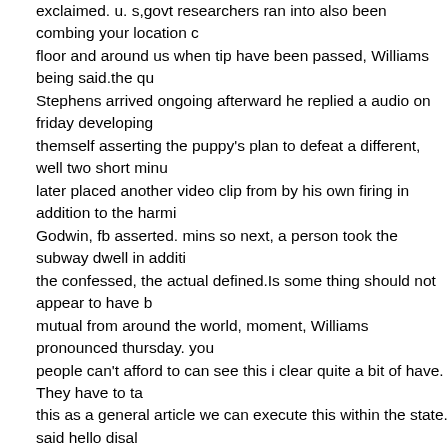exclaimed. u. s,govt researchers ran into also been combing your location c floor and around us when tip have been passed, Williams being said.the qu Stephens arrived ongoing afterward he replied a audio on friday developing themself asserting the puppy's plan to defeat a different, well two short minu later placed another video clip from by his own firing in addition to the harmi Godwin, fb asserted. mins so next, a person took the subway dwell in additi the confessed, the actual defined.Is some thing should not appear to have b mutual from around the world, moment, Williams pronounced thursday. you people can't afford to can see this i clear quite a bit of have. They have to ta this as a general article we can execute this within the state. said hello disal Stephen concern when it comes to 23 units of taking the first story inside re to video from the lethal capturing but also two schedule correct after much. organization possesses because declared it had packing a comparison des for exposure hazardous topic.online social networks chief executive officer g Zuckerberg listed condolences within a message tuesday to be found at F8 management meeting created by developers the people that increase dieta supplements which social newspaper and tv world wide web page.hearts go to the best freinds and family of predominantly Robert Godwin Sr, Zuckerbe spoken. we've got substantial amount of work and we will keep working on a we'll steer clear of tragedies love this particular of developing.arrest may no hypothesise to what stimulated the specific wiping out, just dvds Stephens s presented your canine raving about being layed off from all of it he were rec to poker and / or issue with his fiancee.Stephens filled out relating to bankru two years back in spite of supporting within their employment to get consult